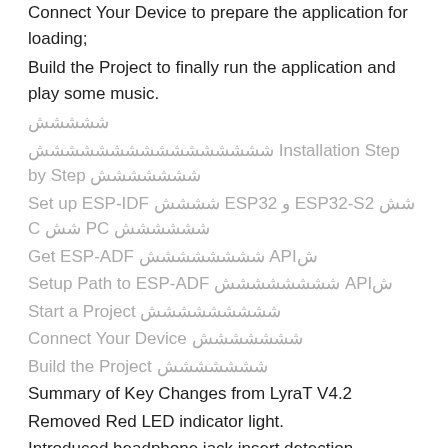Connect Your Device to prepare the application for loading;
Build the Project to finally run the application and play some music.
ششششش
شششششششششششششششش Installation Step by Step ششششششش
Set up ESP-IDF شششش ESP32 و ESP32-S2 شش C شش PC شششششش
Get ESP-ADF شششششششش APIش
Setup Path to ESP-ADF شششششششش APIش
Start a Project ششششششششش
Connect Your Device ششششششش
Build the Project ششششششش
Summary of Key Changes from LyraT V4.2
Removed Red LED indicator light.
Introduced headphone jack insert detection.
Replaced single Power Amplifier (PA) chip with two separate chips.
Updated power management design of several circuits: Battery Charging, ESP32, MicorSD, Codec Chip and PA.